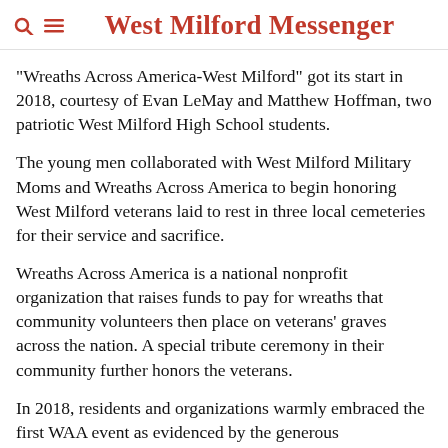West Milford Messenger
"Wreaths Across America-West Milford" got its start in 2018, courtesy of Evan LeMay and Matthew Hoffman, two patriotic West Milford High School students.
The young men collaborated with West Milford Military Moms and Wreaths Across America to begin honoring West Milford veterans laid to rest in three local cemeteries for their service and sacrifice.
Wreaths Across America is a national nonprofit organization that raises funds to pay for wreaths that community volunteers then place on veterans' graves across the nation. A special tribute ceremony in their community further honors the veterans.
In 2018, residents and organizations warmly embraced the first WAA event as evidenced by the generous